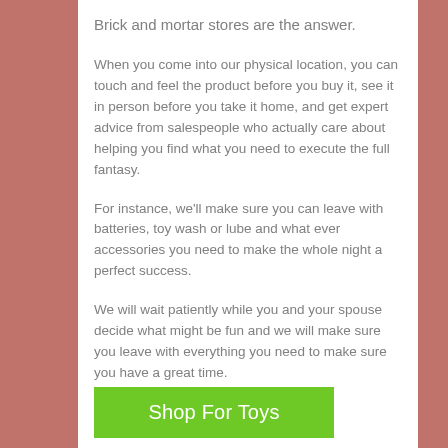Brick and mortar stores are the answer.
When you come into our physical location, you can touch and feel the product before you buy it, see it in person before you take it home, and get expert advice from salespeople who actually care about helping you find what you need to execute the full fantasy.
For instance, we'll make sure you can leave with batteries, toy wash or lube and what ever accessories you need to make the whole night a perfect success.
We will wait patiently while you and your spouse decide what might be fun and we will make sure you leave with everything you need to make sure you have a great time.
Shop For Toys